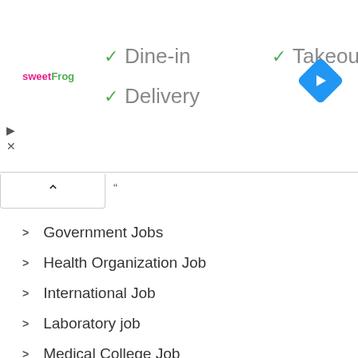[Figure (screenshot): SweetFrog ad banner showing Dine-in, Takeout, and Delivery options with green checkmarks, sweetFrog logo, and navigation arrow icon]
Government Jobs
Health Organization Job
International Job
Laboratory job
Medical College Job
Medical Job
Mid level Job
Multinational Company
NGO Jobs
Non-Government Job
Notice